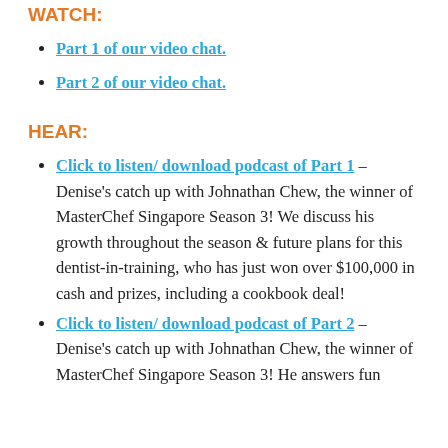WATCH:
Part 1 of our video chat.
Part 2 of our video chat.
HEAR:
Click to listen/ download podcast of Part 1 – Denise's catch up with Johnathan Chew, the winner of MasterChef Singapore Season 3! We discuss his growth throughout the season & future plans for this dentist-in-training, who has just won over $100,000 in cash and prizes, including a cookbook deal!
Click to listen/ download podcast of Part 2 – Denise's catch up with Johnathan Chew, the winner of MasterChef Singapore Season 3! He answers fun